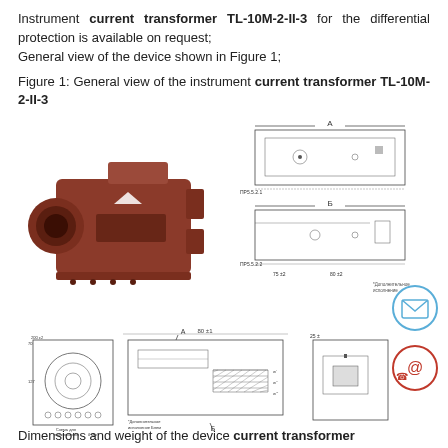Instrument current transformer TL-10M-2-II-3 for the differential protection is available on request; General view of the device shown in Figure 1;
Figure 1: General view of the instrument current transformer TL-10M-2-II-3
[Figure (photo): Photo of instrument current transformer TL-10M-2-II-3 showing the physical brown/terracotta colored unit with cylindrical opening]
[Figure (engineering-diagram): Technical engineering drawings of TL-10M-2-II-3 showing top view, side view, front view, cross-section and rear view with dimensions]
Dimensions and weight of the device current transformer